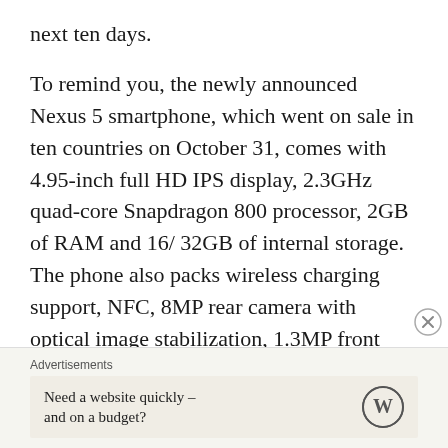next ten days.
To remind you, the newly announced Nexus 5 smartphone, which went on sale in ten countries on October 31, comes with 4.95-inch full HD IPS display, 2.3GHz quad-core Snapdragon 800 processor, 2GB of RAM and 16/ 32GB of internal storage. The phone also packs wireless charging support, NFC, 8MP rear camera with optical image stabilization, 1.3MP front camera and 2300 mAh battery.
Advertisements
Need a website quickly – and on a budget?